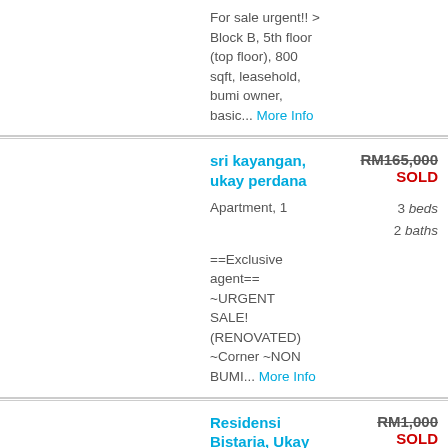For sale urgent!! > Block B, 5th floor (top floor), 800 sqft, leasehold, bumi owner, basic... More Info
sri kayangan, ukay perdana
RM165,000 SOLD
3 beds 2 baths
Apartment, 1
==Exclusive agent== ~URGENT SALE! (RENOVATED) ~Corner ~NON BUMI... More Info
Residensi Bistaria, Ukay Perdana
RM1,000 SOLD
3 beds